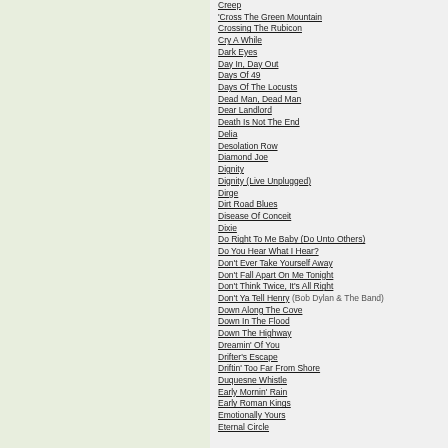Creep
'Cross The Green Mountain
Crossing The Rubicon
Cry A While
Dark Eyes
Day In, Day Out
Days Of 49
Days Of The Locusts
Dead Man, Dead Man
Dear Landlord
Death Is Not The End
Delia
Desolation Row
Diamond Joe
Dignity
Dignity (Live Unplugged)
Dirge
Dirt Road Blues
Disease Of Conceit
Dixie
Do Right To Me Baby (Do Unto Others)
Do You Hear What I Hear?
Don't Ever Take Yourself Away
Don't Fall Apart On Me Tonight
Don't Think Twice, It's All Right
Don't Ya Tell Henry (Bob Dylan & The Band)
Down Along The Cove
Down In The Flood
Down The Highway
Dreamin' Of You
Drifter's Escape
Driftin' Too Far From Shore
Duquesne Whistle
Early Mornin' Rain
Early Roman Kings
Emotionally Yours
Eternal Circle